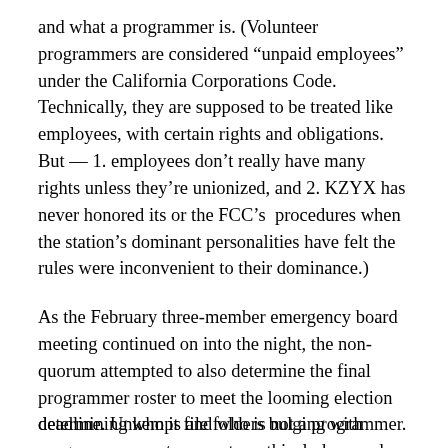and what a programmer is. (Volunteer programmers are considered “unpaid employees” under the California Corporations Code. Technically, they are supposed to be treated like employees, with certain rights and obligations. But — 1. employees don’t really have many rights unless they’re unionized, and 2. KZYX has never honored its or the FCC’s  procedures when the station’s dominant personalities have felt the rules were inconvenient to their dominance.)
As the February three-member emergency board meeting continued on into the night, the non-quorum attempted to also determine the final programmer roster to meet the looming election deadline. Unkempt file folders bulging with programmers past, present, mythical, deceased, disappeared, doppleganged, unknown, were presented and reviewed, but no decision was made as to what the criteria should be for determining who is and who is not a programmer.